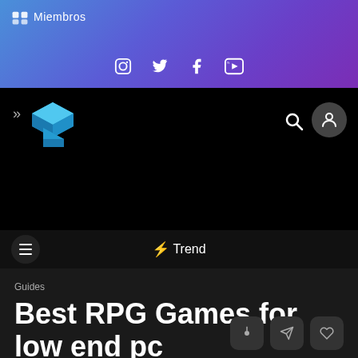Miembros
[Figure (screenshot): Social media icons row: Instagram, Twitter, Facebook, YouTube]
[Figure (logo): Blue 3D block logo with navigation arrows and search/user icons on black nav bar]
⚡ Trend
Guides
Best RPG Games for low end pc
Updated: March 9, 2022